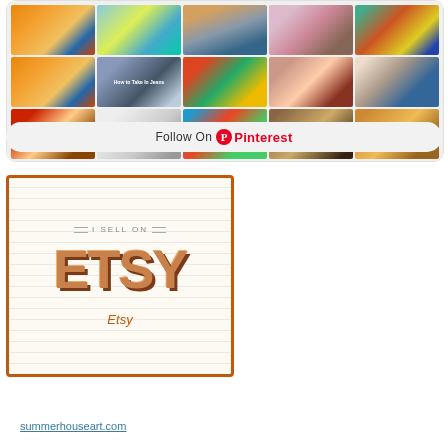[Figure (screenshot): Pinterest widget showing a grid of pinned images including abstract art, portraits, jeans tutorial, colorful bags, baskets, and artwork]
Follow On Pinterest
[Figure (logo): Etsy seller badge with orange border. Shows 'I SELL ON' text above large ETSY logo letters in orange 3D style, with 'Etsy' in italic below]
summerhouseart.com